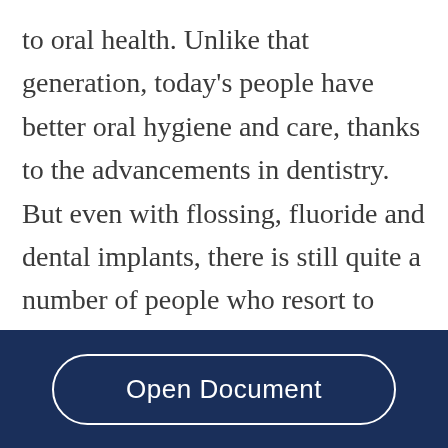to oral health. Unlike that generation, today's people have better oral hygiene and care, thanks to the advancements in dentistry. But even with flossing, fluoride and dental implants, there is still quite a number of people who resort to having dentures due to loss of teeth as a result of tooth decay and periodontitis (more commonly known as gum disease). According to American Academy of Periodontology, nearly a fourth of people aged 65 and older have lost all their teeth and require full
Open Document